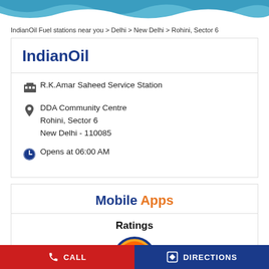[Figure (illustration): Blue wave decorative header banner]
IndianOil Fuel stations near you > Delhi > New Delhi > Rohini, Sector 6
IndianOil
R.K.Amar Saheed Service Station
DDA Community Centre
Rohini, Sector 6
New Delhi - 110085
Opens at 06:00 AM
Mobile Apps
Ratings
[Figure (logo): IndianOil circular logo with Hindi text and orange/blue coloring]
CALL   DIRECTIONS